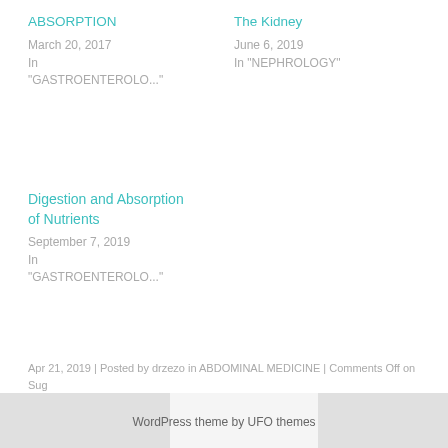ABSORPTION
March 20, 2017
In "GASTROENTEROLO..."
The Kidney
June 6, 2019
In "NEPHROLOGY"
Digestion and Absorption of Nutrients
September 7, 2019
In "GASTROENTEROLO..."
Apr 21, 2019 | Posted by drzezo in ABDOMINAL MEDICINE | Comments Off on Sug Absorption
WordPress theme by UFO themes